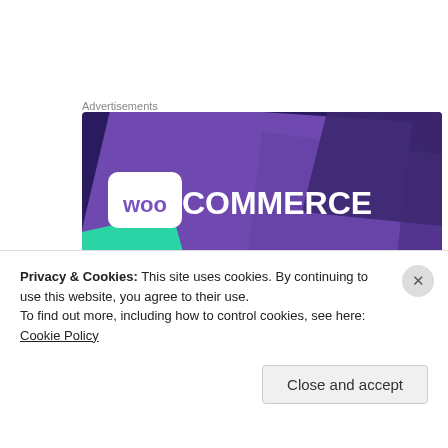Advertisements
[Figure (logo): WooCommerce advertisement banner with purple gradient background, teal accent shape, and white WooCommerce logo text]
Privacy & Cookies: This site uses cookies. By continuing to use this website, you agree to their use.
To find out more, including how to control cookies, see here: Cookie Policy
Close and accept